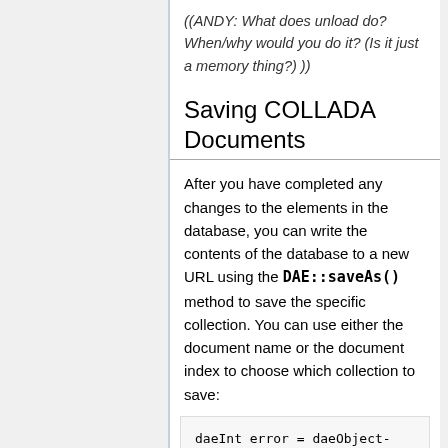((ANDY: What does unload do? When/why would you do it? (Is it just a memory thing?) ))
Saving COLLADA Documents
After you have completed any changes to the elements in the database, you can write the contents of the database to a new URL using the DAE::saveAs() method to save the specific collection. You can use either the document name or the document index to choose which collection to save:
daeInt error = daeObject->saveAs("output_url_name.xml",
"file:///input_url_name.xml");